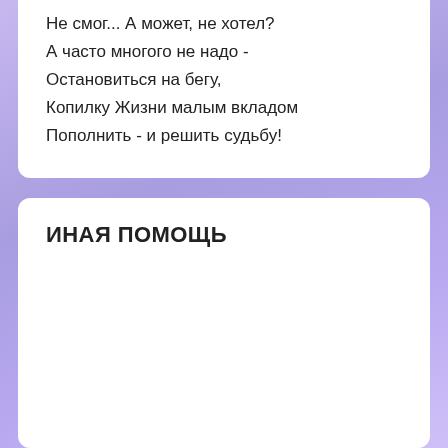Не смог... А может, не хотел?
А часто многого не надо -
Остановиться на бегу,
Копилку Жизни малым вкладом
Пополнить - и решить судьбу!
ИНАЯ ПОМОЩЬ